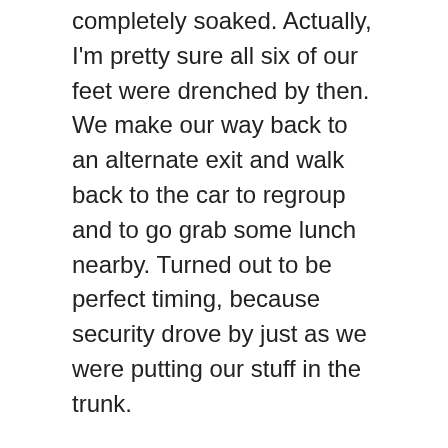completely soaked. Actually, I'm pretty sure all six of our feet were drenched by then. We make our way back to an alternate exit and walk back to the car to regroup and to go grab some lunch nearby. Turned out to be perfect timing, because security drove by just as we were putting our stuff in the trunk.
After finding out exactly where we needed to go, we finished eating and drove back around the other buildings. There were a few people walking around and the security SUV was sitting right where we needed to go. We decided to go to another place nearby and see as much as we could before it got dark on us. The next place was definitely easier. When we got there, there were people walking their dogs all over the property, so we just parked and started walking around. The first couple buildings didn't yield much in the way of photographs, but the last ones were decent. We were actually about to leave and we ended